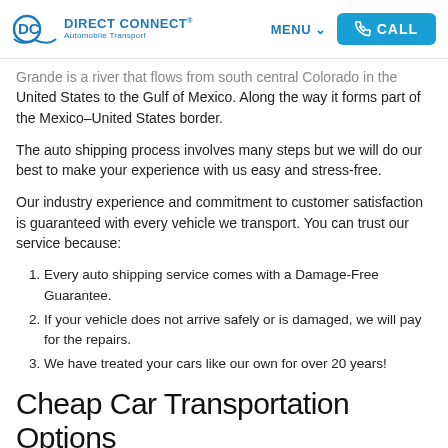DIRECT CONNECT® Automobile Transport | MENU | CALL
Grande is a river that flows from south central Colorado in the United States to the Gulf of Mexico. Along the way it forms part of the Mexico–United States border.
The auto shipping process involves many steps but we will do our best to make your experience with us easy and stress-free.
Our industry experience and commitment to customer satisfaction is guaranteed with every vehicle we transport. You can trust our service because:
Every auto shipping service comes with a Damage-Free Guarantee.
If your vehicle does not arrive safely or is damaged, we will pay for the repairs.
We have treated your cars like our own for over 20 years!
Cheap Car Transportation Options